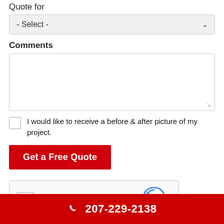Quote for
- Select -
Comments
I would like to receive a before & after picture of my project.
Get a Free Quote
[Figure (other): reCAPTCHA widget with checkbox labeled I'm not a robot, and reCAPTCHA logo with Privacy and Terms links]
207-229-2138